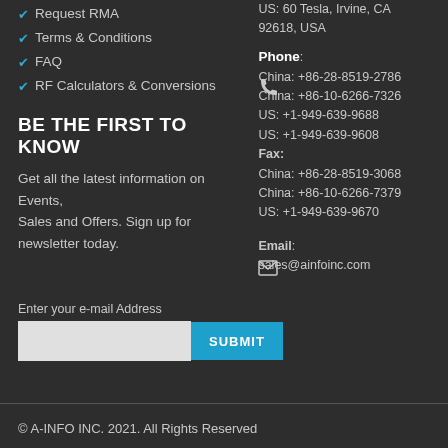Request RMA
Terms & Conditions
FAQ
RF Calculators & Conversions
BE THE FIRST TO KNOW
Get all the latest information on Events, Sales and Offers. Sign up for newsletter today.
Enter your e-mail Address
US: 60 Tesla, Irvine, CA 92618, USA
Phone: China: +86-28-8519-2786 China: +86-10-6266-7326 US: +1-949-639-9688 US: +1-949-639-9608 Fax: China: +86-28-8519-3068 China: +86-10-6266-7379 US: +1-949-639-9670
Email: sales@ainfoinc.com
© A-INFO INC. 2021. All Rights Reserved